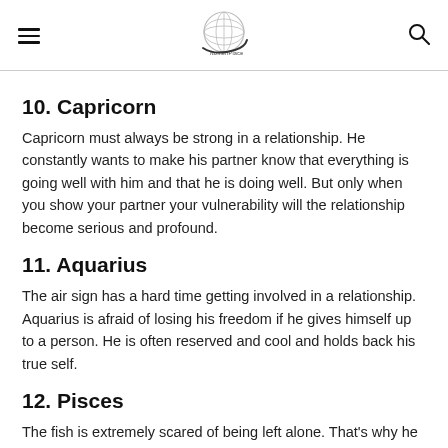[hamburger menu] [globe logo] [search icon]
10. Capricorn
Capricorn must always be strong in a relationship. He constantly wants to make his partner know that everything is going well with him and that he is doing well. But only when you show your partner your vulnerability will the relationship become serious and profound.
11. Aquarius
The air sign has a hard time getting involved in a relationship. Aquarius is afraid of losing his freedom if he gives himself up to a person. He is often reserved and cool and holds back his true self.
12. Pisces
The fish is extremely scared of being left alone. That's why he always tries to please his partner and put his needs